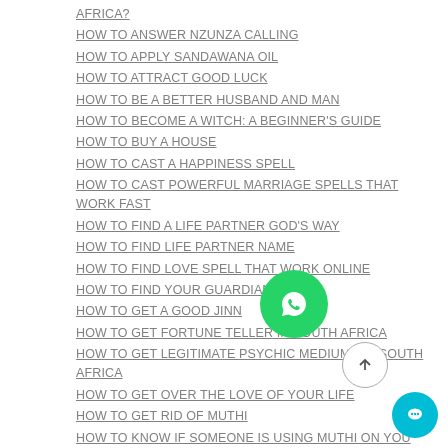AFRICA?
HOW TO ANSWER NZUNZA CALLING
HOW TO APPLY SANDAWANA OIL
HOW TO ATTRACT GOOD LUCK
HOW TO BE A BETTER HUSBAND AND MAN
HOW TO BECOME A WITCH: A BEGINNER'S GUIDE
HOW TO BUY A HOUSE
HOW TO CAST A HAPPINESS SPELL
HOW TO CAST POWERFUL MARRIAGE SPELLS THAT WORK FAST
HOW TO FIND A LIFE PARTNER GOD'S WAY
HOW TO FIND LIFE PARTNER NAME
HOW TO FIND LOVE SPELL THAT WORK ONLINE
HOW TO FIND YOUR GUARDIAN ANGEL
HOW TO GET A GOOD JINN
HOW TO GET FORTUNE TELLER IN SOUTH AFRICA
HOW TO GET LEGITIMATE PSYCHIC MEDIUMS IN SOUTH AFRICA
HOW TO GET OVER THE LOVE OF YOUR LIFE
HOW TO GET RID OF MUTHI
HOW TO KNOW IF SOMEONE IS USING MUTHI ON YOU
HOW TO MAKE A DIFFICULT WOMAN FALL IN LOVE